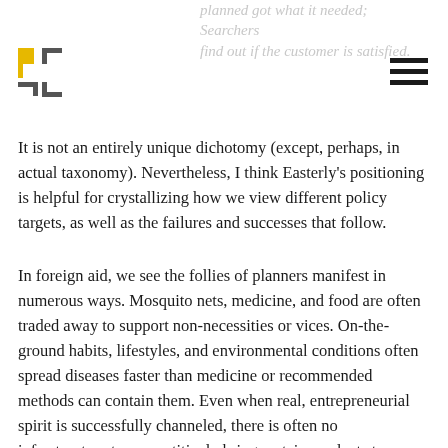planned got what it needed; Searchers find out if the customer is satisfied.
[Figure (logo): Publication logo: four L-shaped pieces forming a square grid, with two pieces in yellow/gold and two in dark gray]
It is not an entirely unique dichotomy (except, perhaps, in actual taxonomy). Nevertheless, I think Easterly's positioning is helpful for crystallizing how we view different policy targets, as well as the failures and successes that follow.
In foreign aid, we see the follies of planners manifest in numerous ways. Mosquito nets, medicine, and food are often traded away to support non-necessities or vices. On-the-ground habits, lifestyles, and environmental conditions often spread diseases faster than medicine or recommended methods can contain them. Even when real, entrepreneurial spirit is successfully channeled, there is often no infrastructure to competitively bring certain products to market.